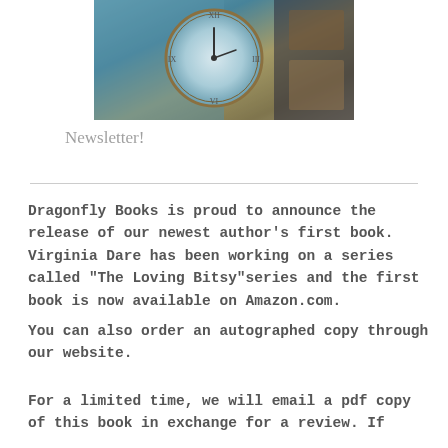[Figure (photo): Photograph of a decorative clock face with teal/blue tones and Roman numerals, with other objects partially visible around it.]
Newsletter!
Dragonfly Books is proud to announce the release of our newest author’s first book. Virginia Dare has been working on a series called “The Loving Bitsy”series and the first book is now available on Amazon.com.
You can also order an autographed copy through our website.
For a limited time, we will email a pdf copy of this book in exchange for a review.  If